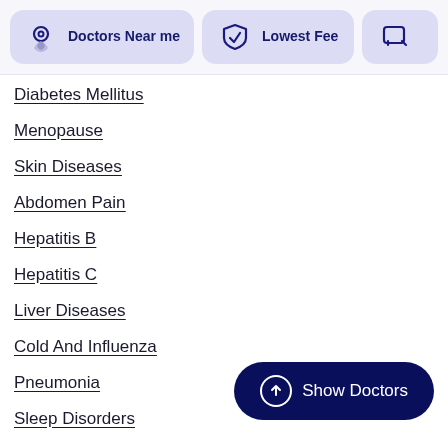[Figure (screenshot): Top filter bar with 'Doctors Near me' card (location icon), 'Lowest Fee' card (shield icon), and a partially visible third card (chat icon)]
Diabetes Mellitus
Menopause
Skin Diseases
Abdomen Pain
Hepatitis B
Hepatitis C
Liver Diseases
Cold And Influenza
Pneumonia
Sleep Disorders
[Figure (other): Dark navy 'Show Doctors' button with upward arrow icon in circle]